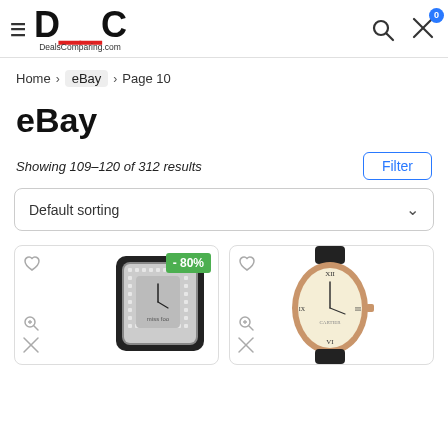DealsComparing.com
Home > eBay > Page 10
eBay
Showing 109–120 of 312 results
Default sorting
[Figure (photo): Diamond-encrusted square watch with crystal-studded dial and bracelet, labeled miss foo, with -80% discount badge]
[Figure (photo): Cartier-style rose gold tortue watch with black leather strap and Roman numeral dial]